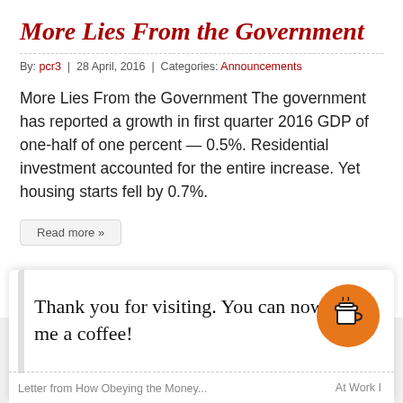More Lies From the Government
By: pcr3  |  28 April, 2016  |  Categories: Announcements
More Lies From the Government The government has reported a growth in first quarter 2016 GDP of one-half of one percent — 0.5%. Residential investment accounted for the entire increase. Yet housing starts fell by 0.7%.
Read more »
Thank you for visiting. You can now buy me a coffee!
Letter from How Obeying the Money... At Work I